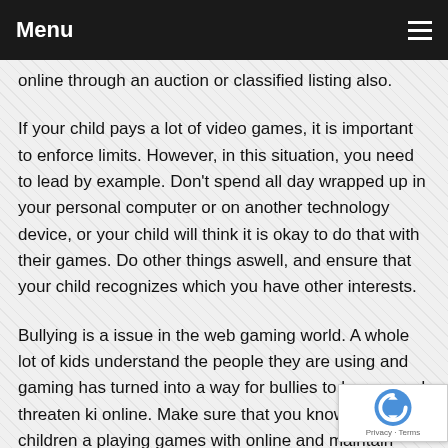Menu
online through an auction or classified listing also.
If your child pays a lot of video games, it is important to enforce limits. However, in this situation, you need to lead by example. Don't spend all day wrapped up in your personal computer or on another technology device, or your child will think it is okay to do that with their games. Do other things aswell, and ensure that your child recognizes which you have other interests.
Bullying is a issue in the web gaming world. A whole lot of kids understand the people they are using and gaming has turned into a way for bullies to harass and threaten ki... online. Make sure that you know who your children a... playing games with online and maintain them safe.